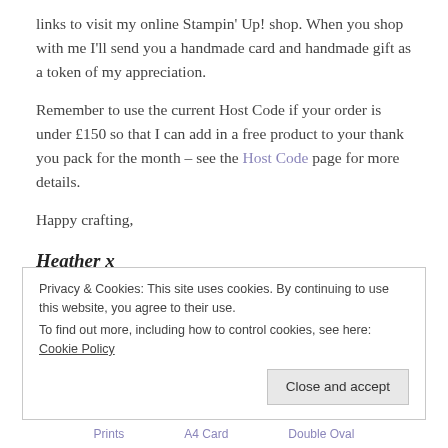links to visit my online Stampin' Up! shop. When you shop with me I'll send you a handmade card and handmade gift as a token of my appreciation.
Remember to use the current Host Code if your order is under £150 so that I can add in a free product to your thank you pack for the month – see the Host Code page for more details.
Happy crafting,
Heather x
Privacy & Cookies: This site uses cookies. By continuing to use this website, you agree to their use.
To find out more, including how to control cookies, see here: Cookie Policy
Prints   A4 Card   Double Oval